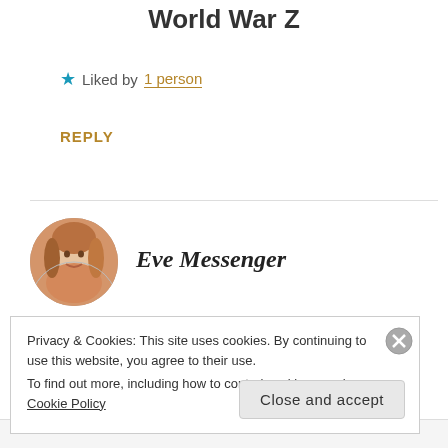World War Z
★ Liked by 1 person
REPLY
[Figure (photo): Circular avatar photo of Eve Messenger, a smiling woman with light hair]
Eve Messenger
Privacy & Cookies: This site uses cookies. By continuing to use this website, you agree to their use.
To find out more, including how to control cookies, see here: Cookie Policy
Close and accept